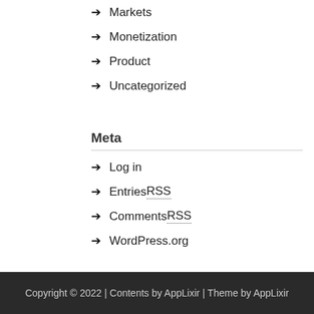Markets
Monetization
Product
Uncategorized
Meta
Log in
Entries RSS
Comments RSS
WordPress.org
Copyright © 2022 | Contents by AppLixir | Theme by AppLixir